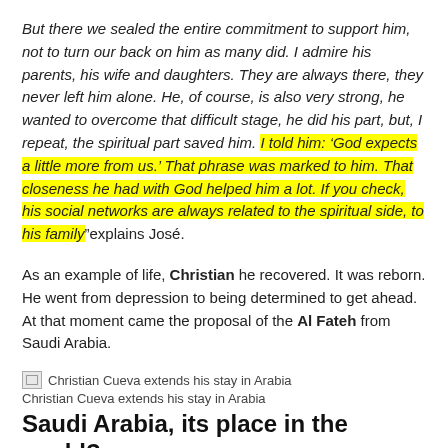But there we sealed the entire commitment to support him, not to turn our back on him as many did. I admire his parents, his wife and daughters. They are always there, they never left him alone. He, of course, is also very strong, he wanted to overcome that difficult stage, he did his part, but, I repeat, the spiritual part saved him. I told him: ‘God expects a little more from us.’ That phrase was marked to him. That closeness he had with God helped him a lot. If you check, his social networks are always related to the spiritual side, to his family”explains José.
As an example of life, Christian he recovered. It was reborn. He went from depression to being determined to get ahead. At that moment came the proposal of the Al Fateh from Saudi Arabia.
[Figure (photo): Broken image thumbnail with caption: Christian Cueva extends his stay in Arabia]
Christian Cueva extends his stay in Arabia
Saudi Arabia, its place in the world?